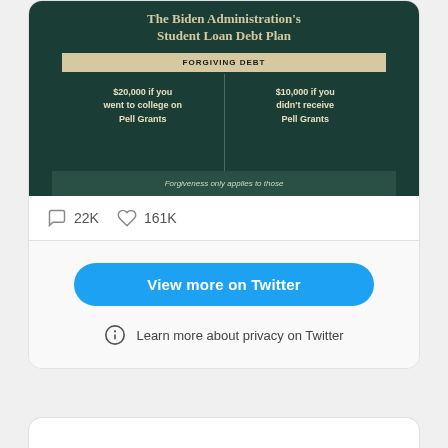[Figure (screenshot): Twitter/social media embed showing a Biden Administration Student Loan Debt Plan infographic. The infographic has a dark teal background with a gold/beige header reading 'The Biden Administration's Student Loan Debt Plan'. Below is a bar labeled 'FORGIVING DEBT' and two columns: '$20,000 if you went to college on Pell Grants' and '$10,000 if you didn't receive Pell Grants'. Partial text at the bottom reads 'Forgiveness only applies to those'. Below the image are engagement stats: 22K comments, 161K likes. A 'View more on Twitter' button and 'Learn more about privacy on Twitter' link appear below.]
22K
161K
View more on Twitter
Learn more about privacy on Twitter